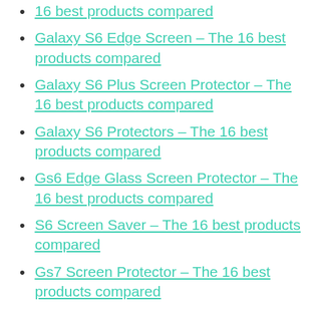16 best products compared
Galaxy S6 Edge Screen – The 16 best products compared
Galaxy S6 Plus Screen Protector – The 16 best products compared
Galaxy S6 Protectors – The 16 best products compared
Gs6 Edge Glass Screen Protector – The 16 best products compared
S6 Screen Saver – The 16 best products compared
Gs7 Screen Protector – The 16 best products compared